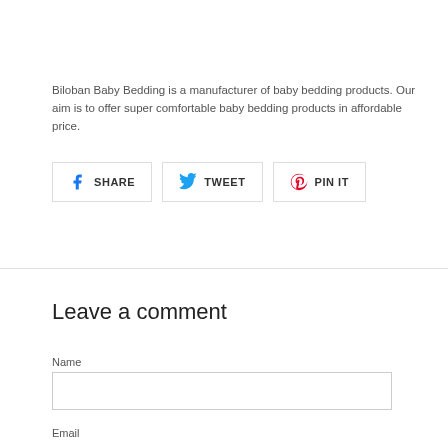Biloban Baby Bedding is a manufacturer of baby bedding products. Our aim is to offer super comfortable baby bedding products in affordable price.
[Figure (infographic): Social sharing buttons: Facebook SHARE, Twitter TWEET, Pinterest PIN IT]
Leave a comment
Name
Email